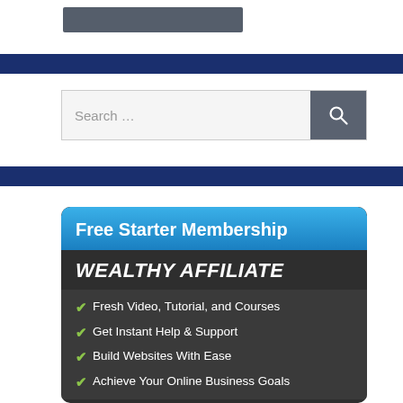[Figure (logo): Dark gray logo/header bar placeholder]
[Figure (screenshot): Dark navy navigation stripe]
[Figure (screenshot): Search bar with text 'Search ...' and a gray search button with magnifying glass icon]
[Figure (screenshot): Dark navy navigation stripe]
[Figure (infographic): Wealthy Affiliate Free Starter Membership advertisement banner. Blue header with 'Free Starter Membership', dark gray body with 'WEALTHY AFFILIATE' in bold italic white, followed by checkmark list: Fresh Video, Tutorial, and Courses; Get Instant Help & Support; Build Websites With Ease; Achieve Your Online Business Goals]